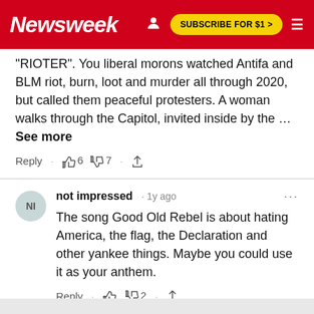Newsweek | SUBSCRIBE FOR $1 >
"RIOTER". You liberal morons watched Antifa and BLM riot, burn, loot and murder all through 2020, but called them peaceful protesters. A woman walks through the Capitol, invited inside by the …See more
Reply · 👍 6 👎 7 · share
not impressed · 1y ago
The song Good Old Rebel is about hating America, the flag, the Declaration and other yankee things. Maybe you could use it as your anthem.
Reply · 👍 👎 2 · share
OpenWeb   Terms | Privacy | Feedback